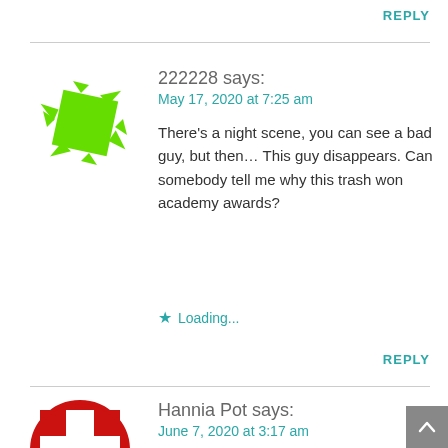REPLY
[Figure (illustration): Green pixelated/geometric avatar icon with arrow-like shapes pointing outward]
222228 says:
May 17, 2020 at 7:25 am
There’s a night scene, you can see a bad guy, but then... This guy disappears. Can somebody tell me why this trash won academy awards?
★ Loading...
REPLY
[Figure (illustration): Red and white checkered/geometric avatar icon, partially visible]
Hannia Pot says:
June 7, 2020 at 3:17 am